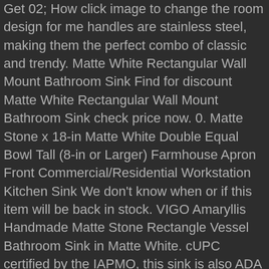Get 02; How click image to change the room design for me handles are stainless steel, making them the perfect combo of classic and trendy. Matte White Rectangular Wall Mount Bathroom Sink Find for discount Matte White Rectangular Wall Mount Bathroom Sink check price now. 0. Matte Stone x 18-in Matte White Double Equal Bowl Tall (8-in or Larger) Farmhouse Apron Front Commercial/Residential Workstation Kitchen Sink We don't know when or if this item will be back in stock. VIGO Amaryllis Handmade Matte Stone Rectangle Vessel Bathroom Sink in Matte White. cUPC certified by the IAPMO, this sink is also ADA compliant and features VIGO's quality-assured Limited Lifetime Warranty. Pair this sink with any VIGO vessel or waterfall faucet and a matching pop-up bathroom sink drain to complete the entire bathroom sink set. Get it as soon as Mon, Jan 4. Richly colored to complement any countertop, Neoroc resists scratches, stains, and fading and is highly heat- and impact-resistant. 1362-001-0120 - Sotto 32 Farmhouse Undermount Fireclay 32" Single Bowl Kitchen Sink in White Color with Protective Bottom Grid and Strainer.